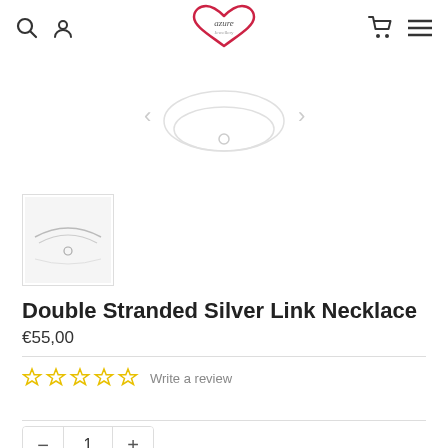azure jewellery - navigation header with search, account, cart, menu icons and logo
[Figure (photo): Main product photo area showing a double stranded silver link necklace on white background]
[Figure (photo): Small thumbnail image of the double stranded silver link necklace]
Double Stranded Silver Link Necklace
€55,00
☆☆☆☆☆ Write a review
1